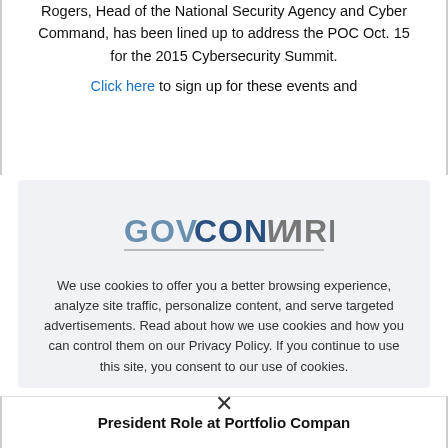Rogers, Head of the National Security Agency and Cyber Command, has been lined up to address the POC Oct. 15 for the 2015 Cybersecurity Summit.
Click here to sign up for these events and
[Figure (logo): GovConWire logo — stylized text with GOVCON in blue/grey and WIRE in grey with a lightning bolt W]
We use cookies to offer you a better browsing experience, analyze site traffic, personalize content, and serve targeted advertisements. Read about how we use cookies and how you can control them on our Privacy Policy. If you continue to use this site, you consent to our use of cookies.
President Role at Portfolio Compan